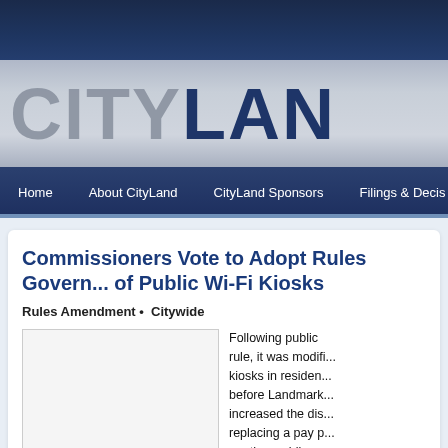CityLand
Home  About CityLand  CityLand Sponsors  Filings & Decis...
Commissioners Vote to Adopt Rules Govern... of Public Wi-Fi Kiosks
Rules Amendment • Citywide
[Figure (photo): Image placeholder for article photo]
Following public... rule, it was modifi... kiosks in residen... before Landmark... increased the dis... replacing a pay p... another public co...